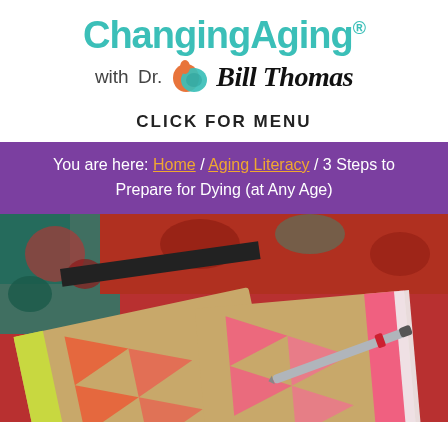[Figure (logo): ChangingAging with Dr. Bill Thomas logo – teal bold text 'ChangingAging' with registered mark, below it 'with Dr.' then a circular icon (orange and teal overlapping circles) then handwritten-style 'Bill Thomas']
CLICK FOR MENU
You are here: Home / Aging Literacy / 3 Steps to Prepare for Dying (at Any Age)
[Figure (photo): Photo of two notebooks with chevron pattern (orange/coral chevrons on kraft paper background) and a pen with red clip lying on top, set on a colorful patterned rug with red, teal, and floral motifs]